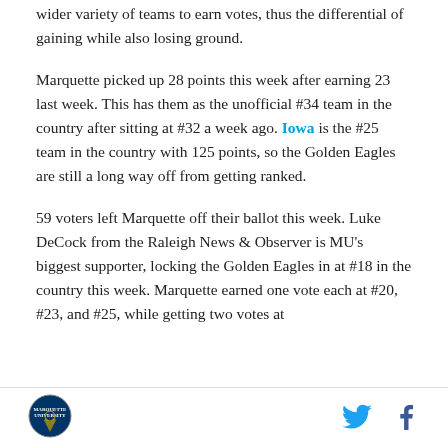wider variety of teams to earn votes, thus the differential of gaining while also losing ground.
Marquette picked up 28 points this week after earning 23 last week. This has them as the unofficial #34 team in the country after sitting at #32 a week ago. Iowa is the #25 team in the country with 125 points, so the Golden Eagles are still a long way off from getting ranked.
59 voters left Marquette off their ballot this week. Luke DeCock from the Raleigh News & Observer is MU's biggest supporter, locking the Golden Eagles in at #18 in the country this week. Marquette earned one vote each at #20, #23, and #25, while getting two votes at
[Figure (logo): Marquette University circular logo/seal]
[Figure (illustration): Twitter bird icon in blue]
[Figure (illustration): Facebook 'f' icon in dark blue]